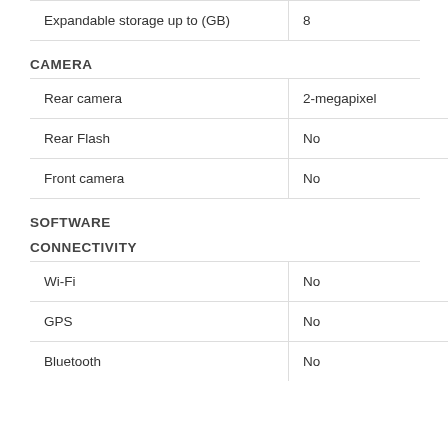|  |  |
| --- | --- |
| Expandable storage up to (GB) | 8 |
CAMERA
|  |  |
| --- | --- |
| Rear camera | 2-megapixel |
| Rear Flash | No |
| Front camera | No |
SOFTWARE
CONNECTIVITY
|  |  |
| --- | --- |
| Wi-Fi | No |
| GPS | No |
| Bluetooth | No |